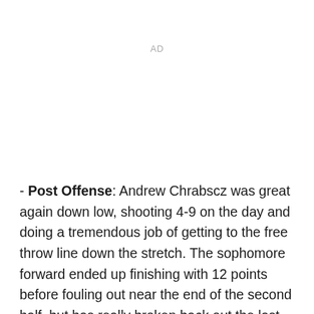AD
- Post Offense: Andrew Chrabscz was great again down low, shooting 4-9 on the day and doing a tremendous job of getting to the free throw line down the stretch. The sophomore forward ended up finishing with 12 points before fouling out near the end of the second half, but has really broken back out the last few games after hitting a cold streak at the beginning of conference play. Freshman Tyler Wideman has been terrific on both ends of the floor, and is a the perfect